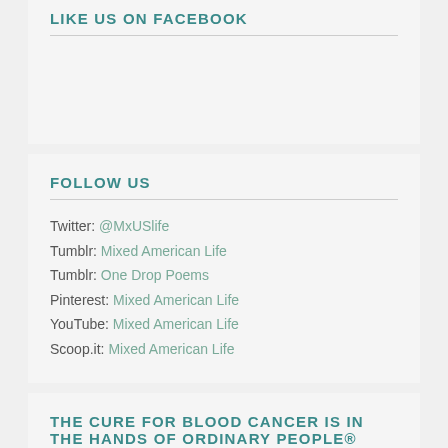LIKE US ON FACEBOOK
FOLLOW US
Twitter: @MxUSlife
Tumblr: Mixed American Life
Tumblr: One Drop Poems
Pinterest: Mixed American Life
YouTube: Mixed American Life
Scoop.it: Mixed American Life
THE CURE FOR BLOOD CANCER IS IN THE HANDS OF ORDINARY PEOPLE®